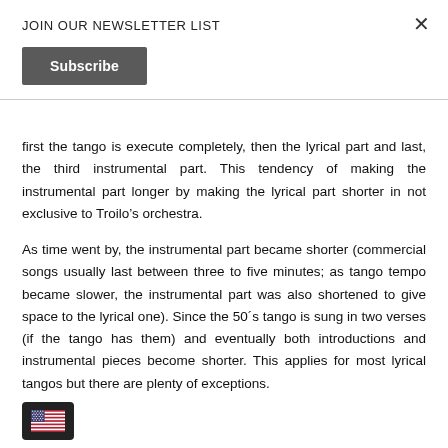JOIN OUR NEWSLETTER LIST
Subscribe
first the tango is execute completely, then the lyrical part and last, the third instrumental part. This tendency of making the instrumental part longer by making the lyrical part shorter in not exclusive to Troilo’s orchestra.
As time went by, the instrumental part became shorter (commercial songs usually last between three to five minutes; as tango tempo became slower, the instrumental part was also shortened to give space to the lyrical one). Since the 50´s tango is sung in two verses (if the tango has them) and eventually both introductions and instrumental pieces become shorter. This applies for most lyrical tangos but there are plenty of exceptions.
[Figure (illustration): US flag emoji icon in a dark rounded rectangle widget in the bottom left corner]